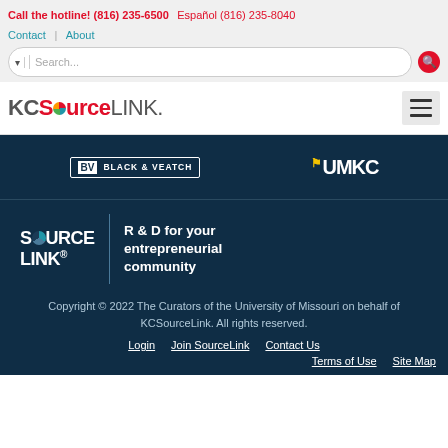Call the hotline! (816) 235-6500  Español (816) 235-8040  Contact  About
[Figure (screenshot): KCSourceLink website header with search bar and hamburger navigation menu]
[Figure (logo): Black & Veatch and UMKC sponsor logos on dark navy background]
[Figure (logo): SourceLink logo with tagline R & D for your entrepreneurial community on dark navy background]
Copyright © 2022 The Curators of the University of Missouri on behalf of KCSourceLink. All rights reserved.
Login  Join SourceLink  Contact Us  Terms of Use  Site Map